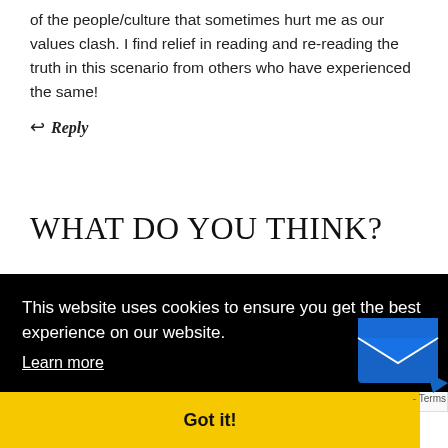of the people/culture that sometimes hurt me as our values clash. I find relief in reading and re-reading the truth in this scenario from others who have experienced the same!
↩ Reply
WHAT DO YOU THINK?
Your email address will not be published. Required fields are marked *
This website uses cookies to ensure you get the best experience on our website. Learn more
Got it!